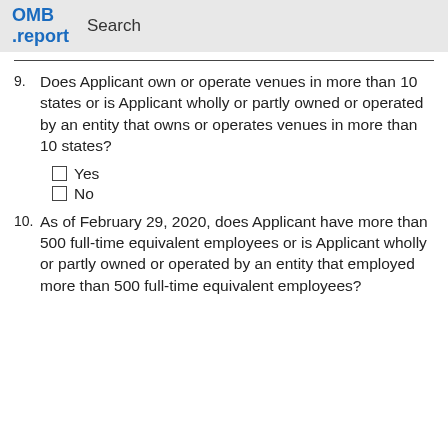OMB .report   Search
9. Does Applicant own or operate venues in more than 10 states or is Applicant wholly or partly owned or operated by an entity that owns or operates venues in more than 10 states?
☐ Yes
☐ No
10. As of February 29, 2020, does Applicant have more than 500 full-time equivalent employees or is Applicant wholly or partly owned or operated by an entity that employed more than 500 full-time equivalent employees?